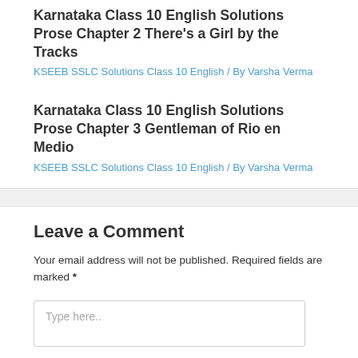Karnataka Class 10 English Solutions Prose Chapter 2 There's a Girl by the Tracks
KSEEB SSLC Solutions Class 10 English / By Varsha Verma
Karnataka Class 10 English Solutions Prose Chapter 3 Gentleman of Rio en Medio
KSEEB SSLC Solutions Class 10 English / By Varsha Verma
Leave a Comment
Your email address will not be published. Required fields are marked *
Type here..